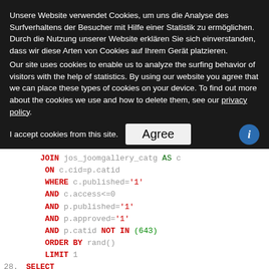Unsere Website verwendet Cookies, um uns die Analyse des Surfverhaltens der Besucher mit Hilfe einer Statistik zu ermöglichen. Durch die Nutzung unserer Website erklären Sie sich einverstanden, dass wir diese Arten von Cookies auf Ihrem Gerät platzieren.
Our site uses cookies to enable us to analyze the surfing behavior of visitors with the help of statistics. By using our website you agree that we can place these types of cookies on your device. To find out more about the cookies we use and how to delete them, see our privacy policy.
I accept cookies from this site.  [Agree]  [i]
JOIN jos_joomgallery_catg AS c
 ON c.cid=p.catid

 WHERE c.published='1'
 AND c.access<=0

 AND p.published='1'
 AND p.approved='1'

 AND p.catid NOT IN (643)

 ORDER BY rand()

 LIMIT 1
28. SELECT